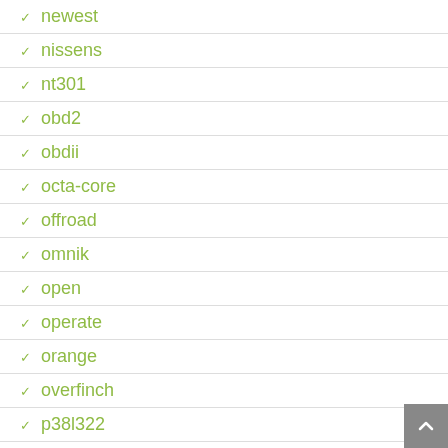newest
nissens
nt301
obd2
obdii
octa-core
offroad
omnik
open
operate
orange
overfinch
p38l322
paintless